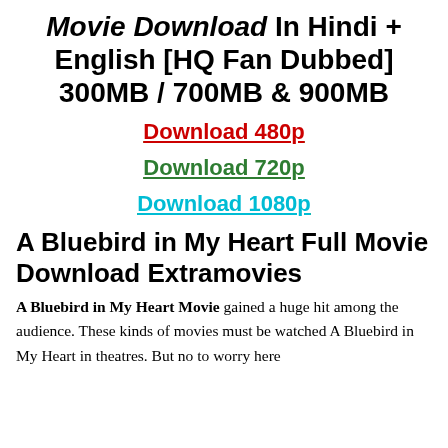Movie Download In Hindi + English [HQ Fan Dubbed] 300MB / 700MB & 900MB
Download 480p
Download 720p
Download 1080p
A Bluebird in My Heart Full Movie Download Extramovies
A Bluebird in My Heart Movie gained a huge hit among the audience. These kinds of movies must be watched A Bluebird in My Heart in theatres. But no to worry here